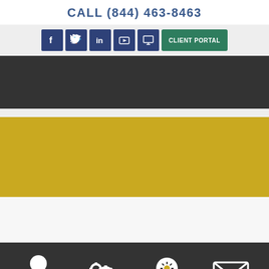CALL (844) 463-8463
[Figure (infographic): Social media icons (Facebook, Twitter, LinkedIn, YouTube, Screen/Desktop) and a green CLIENT PORTAL button arranged horizontally in a light grey bar]
[Figure (infographic): Dark charcoal navigation bar (empty/image area)]
[Figure (infographic): Gold/yellow colored content block]
[Figure (infographic): Light grey/white content block]
[Figure (infographic): Dark bottom bar with four white icons: person/agent, gears/settings, lightbulb/ideas, envelope/mail]